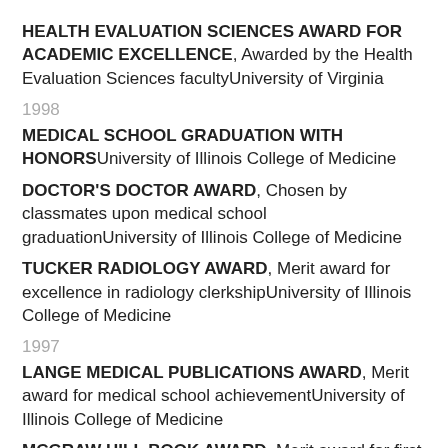HEALTH EVALUATION SCIENCES AWARD FOR ACADEMIC EXCELLENCE, Awarded by the Health Evaluation Sciences facultyUniversity of Virginia
1998
MEDICAL SCHOOL GRADUATION WITH HONORSUniversity of Illinois College of Medicine
DOCTOR'S DOCTOR AWARD, Chosen by classmates upon medical school graduationUniversity of Illinois College of Medicine
TUCKER RADIOLOGY AWARD, Merit award for excellence in radiology clerkshipUniversity of Illinois College of Medicine
1997
LANGE MEDICAL PUBLICATIONS AWARD, Merit award for medical school achievementUniversity of Illinois College of Medicine
MCGRAW HILL BOOK AWARD, Merit award for first in sophomore medical school classUniversity of Illinois College of Medicine